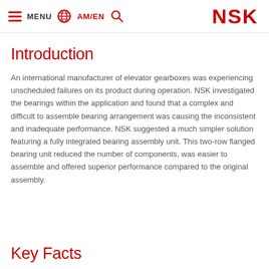MENU  AM/EN  NSK
Introduction
An international manufacturer of elevator gearboxes was experiencing unscheduled failures on its product during operation. NSK investigated the bearings within the application and found that a complex and difficult to assemble bearing arrangement was causing the inconsistent and inadequate performance. NSK suggested a much simpler solution featuring a fully integrated bearing assembly unit. This two-row flanged bearing unit reduced the number of components, was easier to assemble and offered superior performance compared to the original assembly.
Key Facts